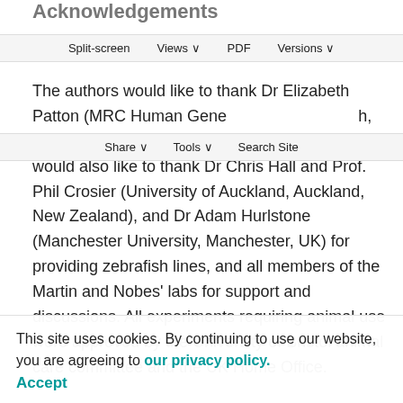Acknowledgements
Split-screen   Views ∨   PDF   Versions ∨
Share ∨   Tools ∨   Search Site
The authors would like to thank Dr Elizabeth Patton (MRC Human Genetics Unit, Edinburgh, UK) for insightful discussions and reagents. We would also like to thank Dr Chris Hall and Prof. Phil Crosier (University of Auckland, Auckland, New Zealand), and Dr Adam Hurlstone (Manchester University, Manchester, UK) for providing zebrafish lines, and all members of the Martin and Nobes' labs for support and discussions. All experiments requiring animal use were approved by the University of Bristol animal care committee and the UK Home Office.
FUNDING: M.L. is funded by a postdoctoral fellowship
This site uses cookies. By continuing to use our website, you are agreeing to our privacy policy. Accept